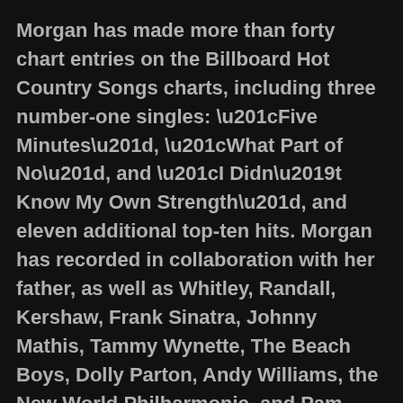Morgan has made more than forty chart entries on the Billboard Hot Country Songs charts, including three number-one singles: “Five Minutes”, “What Part of No”, and “I Didn’t Know My Own Strength”, and eleven additional top-ten hits. Morgan has recorded in collaboration with her father, as well as Whitley, Randall, Kershaw, Frank Sinatra, Johnny Mathis, Tammy Wynette, The Beach Boys, Dolly Parton, Andy Williams, the New World Philharmonic, and Pam Tillis. She is also a member of the Grand Ole Opry. Morgan’s musical style is defined largely by country pop influences and her dramatic singing voice, with frequent stylistic comparisons to Tammy Wynette.